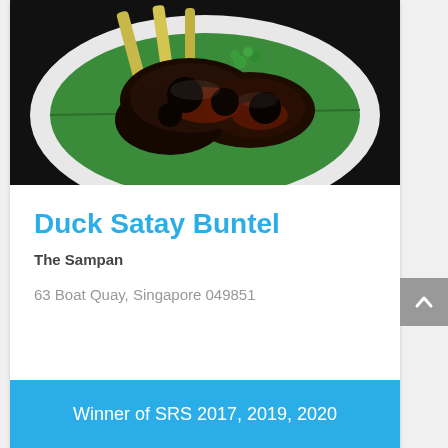[Figure (photo): Grilled duck satay buntel on a white plate with green banana leaf, charred meat skewers with lemongrass, garnished with cilantro]
Duck Satay Buntel
The Sampan
63 Boat Quay, Singapore 049851
Winner of SRS 2017, 2019, 2020